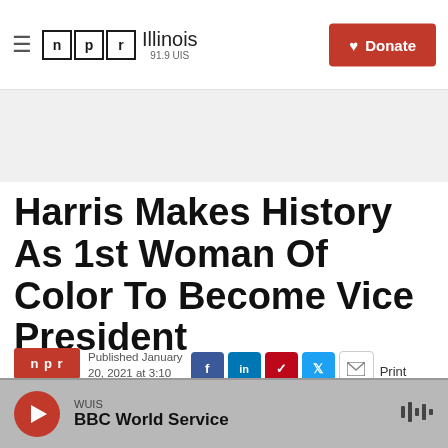NPR Illinois 91.9 UIS
Harris Makes History As 1st Woman Of Color To Become Vice President
Published January 20, 2021 at 3:10 PM CST
WUIS BBC World Service